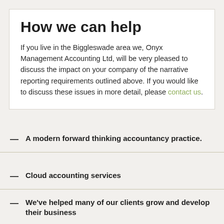How we can help
If you live in the Biggleswade area we, Onyx Management Accounting Ltd, will be very pleased to discuss the impact on your company of the narrative reporting requirements outlined above. If you would like to discuss these issues in more detail, please contact us.
A modern forward thinking accountancy practice.
Cloud accounting services
We've helped many of our clients grow and develop their business